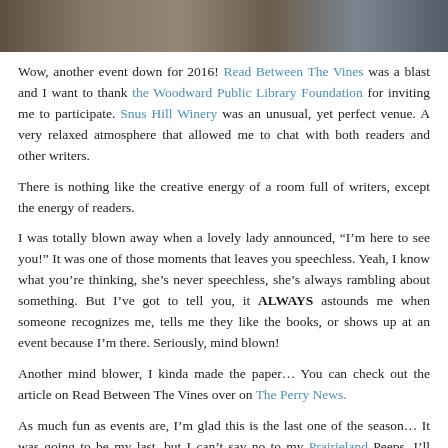[Figure (photo): A cropped photograph strip showing people at an event, with a warm, slightly blurred indoor scene.]
Wow, another event down for 2016! Read Between The Vines was a blast and I want to thank the Woodward Public Library Foundation for inviting me to participate. Snus Hill Winery was an unusual, yet perfect venue. A very relaxed atmosphere that allowed me to chat with both readers and other writers.
There is nothing like the creative energy of a room full of writers, except the energy of readers.
I was totally blown away when a lovely lady announced, “I’m here to see you!” It was one of those moments that leaves you speechless. Yeah, I know what you’re thinking, she’s never speechless, she’s always rambling about something. But I’ve got to tell you, it ALWAYS astounds me when someone recognizes me, tells me they like the books, or shows up at an event because I’m there. Seriously, mind blown!
Another mind blower, I kinda made the paper… You can check out the article on Read Between The Vines over on The Perry News.
As much fun as events are, I’m glad this is the last one of the season… It was going to be my last, but I can’t say no to my Prairieland Peeps. I’ll probably be there for Black Friday and possibly Small Business Saturday